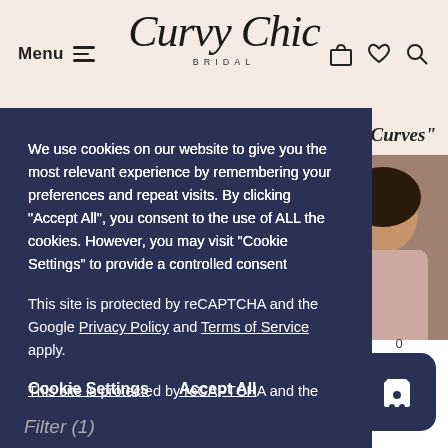Menu | Curvy Chic BRIDAL
We use cookies on our website to give you the most relevant experience by remembering your preferences and repeat visits. By clicking "Accept All", you consent to the use of ALL the cookies. However, you may visit "Cookie Settings" to provide a controlled consent
This site is protected by reCAPTCHA and the Google Privacy Policy and Terms of Service apply.
Cookie Settings   Accept All
[Figure (screenshot): Cookie consent overlay on Curvy Chic Bridal website with shopping cart icon]
Filter (1)